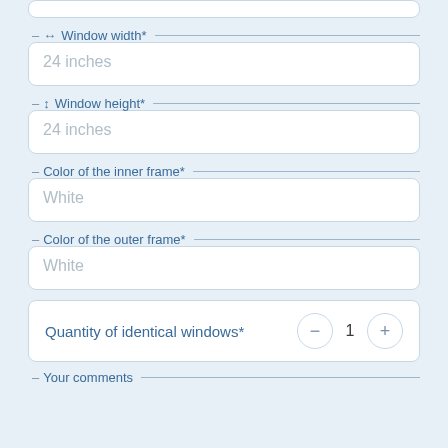[Figure (screenshot): UI form showing window configuration fields: Window width (24 inches placeholder), Window height (24 inches placeholder), Color of the inner frame (White placeholder), Color of the outer frame (White placeholder), Quantity of identical windows with stepper control showing value 1, and Your comments label at bottom.]